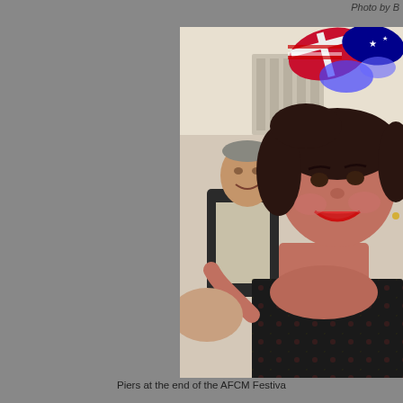Photo by B
[Figure (photo): Two people at the AFCM Festival. In the foreground, a smiling woman with dark curly hair wearing an Australian flag bow headpiece with blue lights and a dark outfit. In the background, an older man smiling, wearing a light shirt and dark jacket.]
Piers at the end of the AFCM Festiva